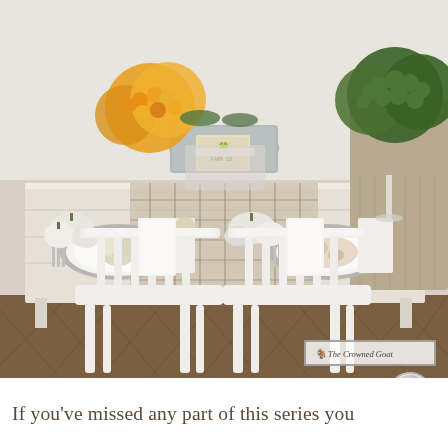[Figure (photo): Interior dining room scene with a farmhouse-style white wooden table set for fall/autumn. Two white spindle-back chairs face away from the viewer. The table is decorated with white pumpkins, green and orange chrysanthemum flowers in galvanized buckets and burlap-wrapped containers, white plates, wine glasses, and a plaid table runner. A watermark reading 'The Crowned Goat' appears in the lower right of the photo.]
If you've missed any part of this series you